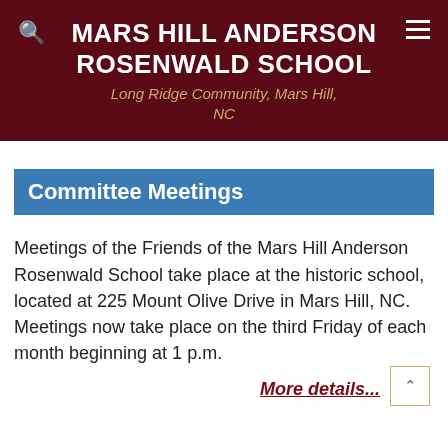MARS HILL ANDERSON ROSENWALD SCHOOL
Long Ridge Community, Mars Hill, NC
Committee Meetings
Meetings of the Friends of the Mars Hill Anderson Rosenwald School take place at the historic school, located at 225 Mount Olive Drive in Mars Hill, NC. Meetings now take place on the third Friday of each month beginning at 1 p.m.
More details...